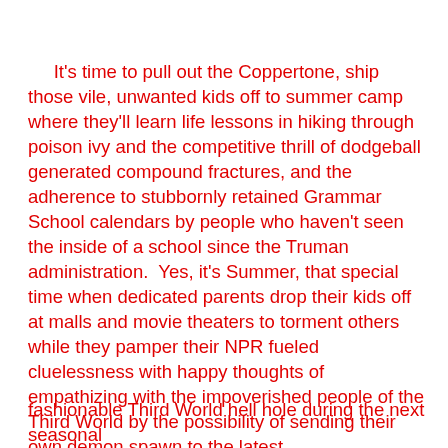It's time to pull out the Coppertone, ship those vile, unwanted kids off to summer camp where they'll learn life lessons in hiking through poison ivy and the competitive thrill of dodgeball generated compound fractures, and the adherence to stubbornly retained Grammar School calendars by people who haven't seen the inside of a school since the Truman administration.  Yes, it's Summer, that special time when dedicated parents drop their kids off at malls and movie theaters to torment others while they pamper their NPR fueled cluelessness with happy thoughts of empathizing with the impoverished people of the Third World by the possibility of sending their own demon spawn to the latest
fashionable Third World hell hole during the next seasonal